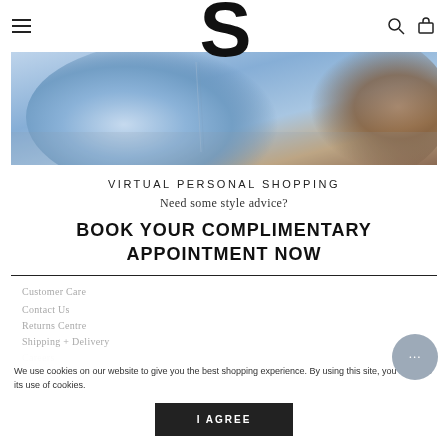S (logo with hamburger menu, search and cart icons)
[Figure (photo): Close-up photo of person wearing denim jeans with blue and brown tones]
VIRTUAL PERSONAL SHOPPING
Need some style advice?
BOOK YOUR COMPLIMENTARY APPOINTMENT NOW
Customer Care
Contact Us
Returns Centre
Shipping + Delivery
Careers
We use cookies on our website to give you the best shopping experience. By using this site, you agree to its use of cookies.
I AGREE